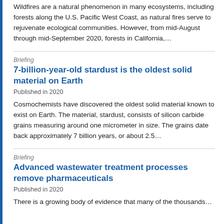Wildfires are a natural phenomenon in many ecosystems, including forests along the U.S. Pacific West Coast, as natural fires serve to rejuvenate ecological communities. However, from mid-August through mid-September 2020, forests in California,…
Briefing
7-billion-year-old stardust is the oldest solid material on Earth
Published in 2020
Cosmochemists have discovered the oldest solid material known to exist on Earth. The material, stardust, consists of silicon carbide grains measuring around one micrometer in size. The grains date back approximately 7 billion years, or about 2.5…
Briefing
Advanced wastewater treatment processes remove pharmaceuticals
Published in 2020
There is a growing body of evidence that many of the thousands…